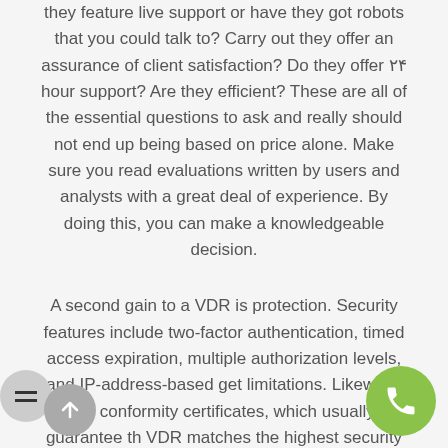they feature live support or have they got robots that you could talk to? Carry out they offer an assurance of client satisfaction? Do they offer ۲۴ hour support? Are they efficient? These are all of the essential questions to ask and really should not end up being based on price alone. Make sure you read evaluations written by users and analysts with a great deal of experience. By doing this, you can make a knowledgeable decision.
A second gain to a VDR is protection. Security features include two-factor authentication, timed access expiration, multiple authorization levels, and IP-address-based get limitations. Likewise, look for conformity certificates, which usually guarantee the VDR matches the highest security standards, including